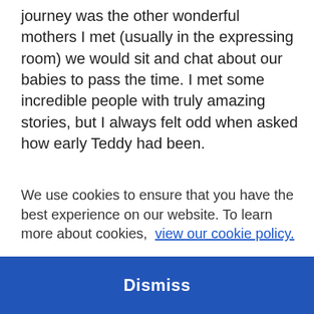journey was the other wonderful mothers I met (usually in the expressing room) we would sit and chat about our babies to pass the time. I met some incredible people with truly amazing stories, but I always felt odd when asked how early Teddy had been.
We use cookies to ensure that you have the best experience on our website. To learn more about cookies,  view our cookie policy.
Dismiss